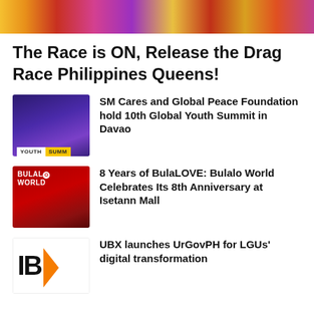[Figure (photo): Top banner image showing colorful Drag Race Philippines queens in vivid costumes]
The Race is ON, Release the Drag Race Philippines Queens!
[Figure (photo): Youth Summit event photo showing people holding a 'YOUTH SUMMIT' banner on a purple-lit stage]
SM Cares and Global Peace Foundation hold 10th Global Youth Summit in Davao
[Figure (photo): Bulalo World restaurant anniversary photo with red Bulalo World logo and people celebrating]
8 Years of BulaLOVE: Bulalo World Celebrates Its 8th Anniversary at Isetann Mall
[Figure (logo): UBX logo with large bold letters 'UBX' and an orange arrow shape]
UBX launches UrGovPH for LGUs' digital transformation